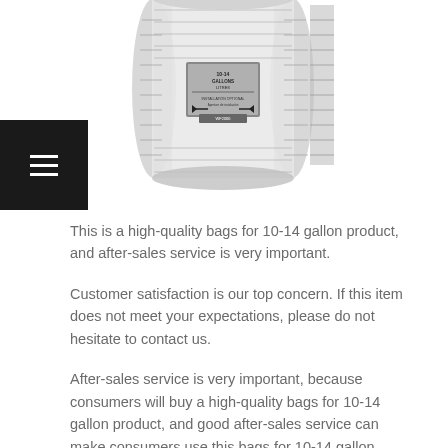[Figure (photo): A cylindrical plastic trash bag roll/dispenser with silver metallic label showing '10-14 GALLONS / LITRES' and installation instructions with arrows. White/transparent product on white background.]
This is a high-quality bags for 10-14 gallon product, and after-sales service is very important.
Customer satisfaction is our top concern. If this item does not meet your expectations, please do not hesitate to contact us.
After-sales service is very important, because consumers will buy a high-quality bags for 10-14 gallon product, and good after-sales service can make consumers use this bags for 10-14 gallon product better.